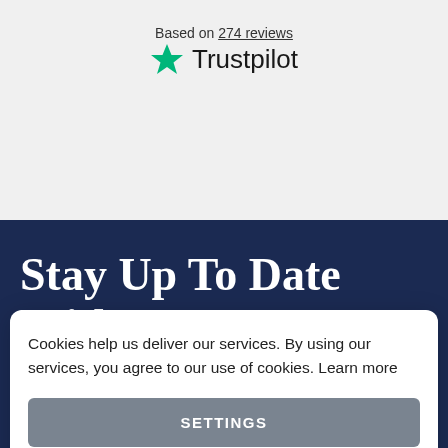Based on 274 reviews
[Figure (logo): Trustpilot logo with green star and the word Trustpilot]
Stay Up To Date With Our Best Offers
Cookies help us deliver our services. By using our services, you agree to our use of cookies. Learn more
SETTINGS
AGREE